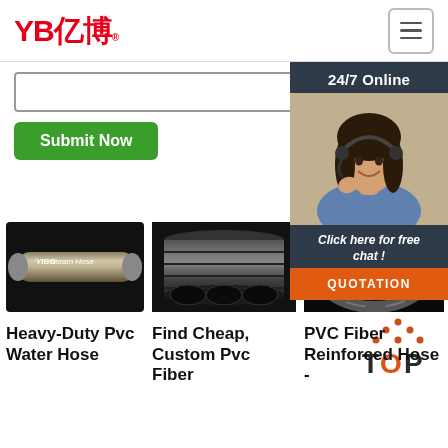YB亿博 logo and navigation menu button
[Figure (screenshot): Input form area with text input box and green Submit Now button]
[Figure (photo): Chat widget with 24/7 Online label, female agent with headset, Click here for free chat text and orange QUOTATION button]
[Figure (photo): YIBO Steam Hose product image - black rubber hose with braiding]
[Figure (photo): PVC pipes stacked together, dark colored]
[Figure (photo): PVC Fiber Reinforced Hose - dark rolled hose]
Heavy-Duty Pvc Water Hose
Find Cheap, Custom Pvc Fiber
PVC Fiber Reinforced Hose -